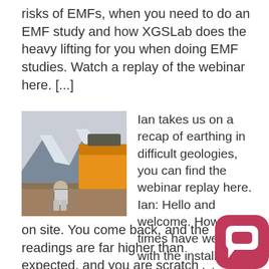risks of EMFs, when you need to do an EMF study and how XGSLab does the heavy lifting for you when doing EMF studies. Watch a replay of the webinar here. [...]
[Figure (photo): A person sitting on a camping chair in front of a large orange tent/vehicle with snow-capped mountains in the background.]
Ian takes us on a recap of earthing in difficult geologies, you can find the webinar replay here. Ian: Hello and welcome. How many times have we faced with the install team, or you are doing tests on site. You come back, and the readings are far higher than expected, and you are scratch
[Figure (logo): Pink/magenta rounded square chat bubble icon (Intercom or similar chat widget)]